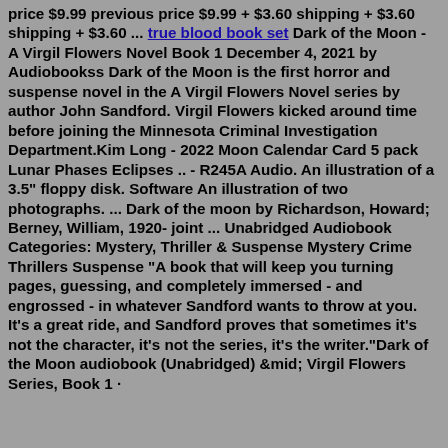price $9.99 previous price $9.99 + $3.60 shipping + $3.60 shipping + $3.60 ... true blood book set Dark of the Moon - A Virgil Flowers Novel Book 1 December 4, 2021 by Audiobookss Dark of the Moon is the first horror and suspense novel in the A Virgil Flowers Novel series by author John Sandford. Virgil Flowers kicked around time before joining the Minnesota Criminal Investigation Department.Kim Long - 2022 Moon Calendar Card 5 pack Lunar Phases Eclipses .. - R245A Audio. An illustration of a 3.5" floppy disk. Software An illustration of two photographs. ... Dark of the moon by Richardson, Howard; Berney, William, 1920- joint ... Unabridged Audiobook Categories: Mystery, Thriller & Suspense Mystery Crime Thrillers Suspense "A book that will keep you turning pages, guessing, and completely immersed - and engrossed - in whatever Sandford wants to throw at you. It's a great ride, and Sandford proves that sometimes it's not the character, it's not the series, it's the writer."Dark of the Moon audiobook (Unabridged) &mid; Virgil Flowers Series, Book 1 ·